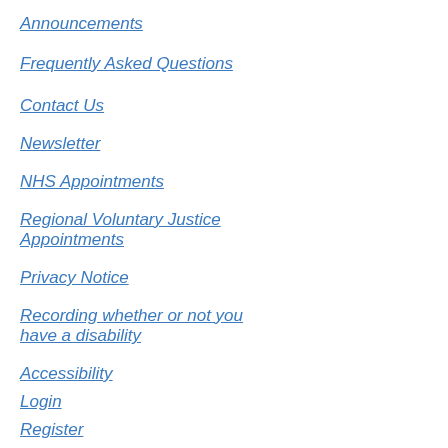Announcements
Frequently Asked Questions
Contact Us
Newsletter
NHS Appointments
Regional Voluntary Justice Appointments
Privacy Notice
Recording whether or not you have a disability
Accessibility
Login
Register
Return to top ↑